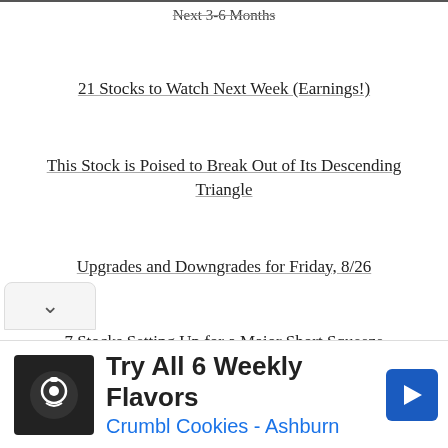Next 3-6 Months
21 Stocks to Watch Next Week (Earnings!)
This Stock is Poised to Break Out of Its Descending Triangle
Upgrades and Downgrades for Friday, 8/26
7 Stocks Setting Up for a Major Short Squeeze
[Figure (other): Advertisement banner for Crumbl Cookies - Ashburn with logo icon, navigation arrow, and collapse chevron button]